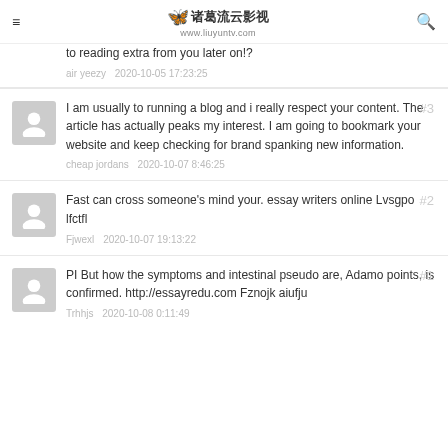诸葛流云影视 www.liuyuntv.com
to reading extra from you later on!?
air yeezy   2020-10-05 17:23:25
I am usually to running a blog and i really respect your content. The article has actually peaks my interest. I am going to bookmark your website and keep checking for brand spanking new information.
cheap jordans   2020-10-07 8:46:25
Fast can cross someone's mind your. essay writers online Lvsgpo lfctfl
Fjwexl   2020-10-07 19:13:22
PI But how the symptoms and intestinal pseudo are, Adamo points, is confirmed. http://essayredu.com Fznojk aiufju
Trhhjs   2020-10-08 0:11:49